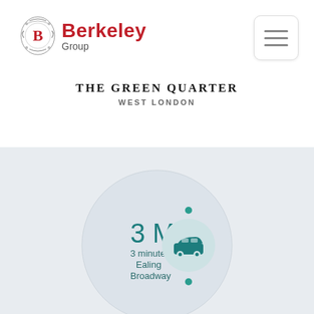[Figure (logo): Berkeley Group logo with red crest emblem and red Berkeley text]
[Figure (other): Hamburger menu icon button]
THE GREEN QUARTER
WEST LONDON
[Figure (infographic): Circular infographic showing 3 Min, 3 minutes to Ealing Broadway, with a car icon in a smaller circle and two teal dots]